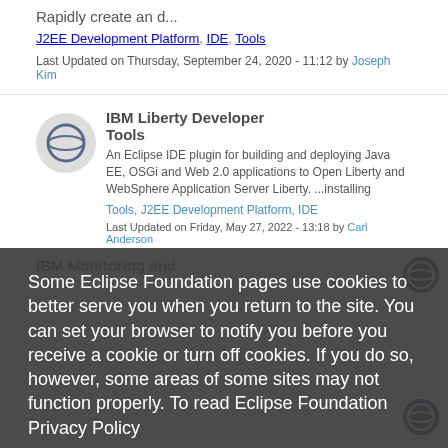Rapidly create an d...
J2EE Development Platform, IDE, Tools
Last Updated on Thursday, September 24, 2020 - 11:12 by Joseph Kim
IBM Liberty Developer Tools
An Eclipse IDE plugin for building and deploying Java EE, OSGi and Web 2.0 applications to Open Liberty and WebSphere Application Server Liberty. ...installing
Tools, J2EE Development Platform, IDE
Last Updated on Friday, May 27, 2022 - 13:18 by Carl Anderson
Some Eclipse Foundation pages use cookies to better serve you when you return to the site. You can set your browser to notify you before you receive a cookie or turn off cookies. If you do so, however, some areas of some sites may not function properly. To read Eclipse Foundation Privacy Policy
click here.
Decline
Allow cookies
IBM Monitoring and